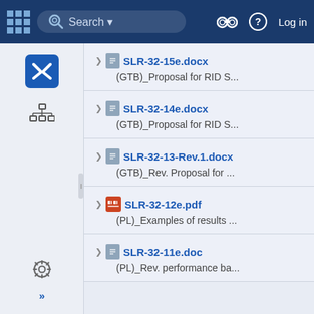[Figure (screenshot): Top navigation bar with grid icon, search bar, binoculars icon, help icon, and Log in link on dark blue background]
SLR-32-15e.docx
(GTB)_Proposal for RID S...
SLR-32-14e.docx
(GTB)_Proposal for RID S...
SLR-32-13-Rev.1.docx
(GTB)_Rev. Proposal for ...
SLR-32-12e.pdf
(PL)_Examples of results ...
SLR-32-11e.doc
(PL)_Rev. performance ba...